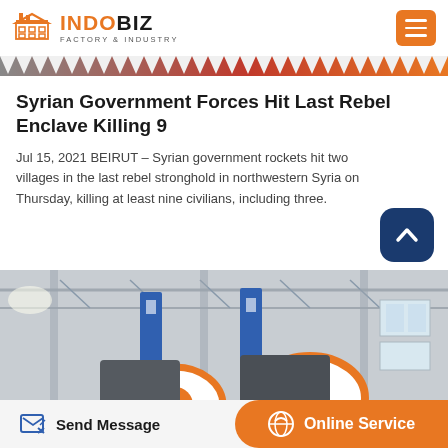INDOBIZ FACTORY & INDUSTRY
Syrian Government Forces Hit Last Rebel Enclave Killing 9
Jul 15, 2021 BEIRUT – Syrian government rockets hit two villages in the last rebel stronghold in northwestern Syria on Thursday, killing at least nine civilians, including three.
[Figure (photo): Interior of a large industrial factory hall with machinery including orange and white circular industrial equipment, blue banners, steel trusses, and windows along the walls.]
Send Message | Online Service